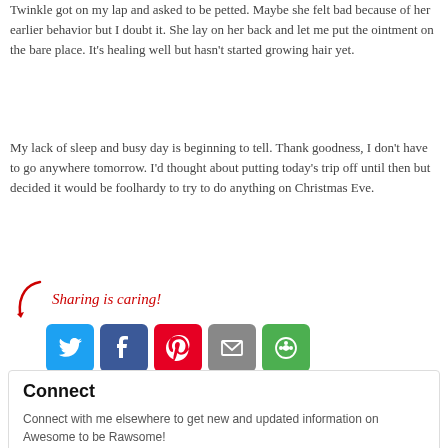Twinkle got on my lap and asked to be petted. Maybe she felt bad because of her earlier behavior but I doubt it. She lay on her back and let me put the ointment on the bare place. It's healing well but hasn't started growing hair yet.
My lack of sleep and busy day is beginning to tell. Thank goodness, I don't have to go anywhere tomorrow. I'd thought about putting today's trip off until then but decided it would be foolhardy to try to do anything on Christmas Eve.
[Figure (infographic): Sharing is caring! graphic with arrow and social media share buttons: Twitter (blue), Facebook (dark blue), Pinterest (red), Email (grey), More (green)]
Connect
Connect with me elsewhere to get new and updated information on Awesome to be Rawsome!